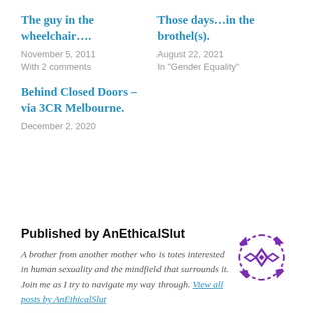The guy in the wheelchair….
November 5, 2011
With 2 comments
Those days…in the brothel(s).
August 22, 2021
In "Gender Equality"
Behind Closed Doors – via 3CR Melbourne.
December 2, 2020
Published by AnEthicalSlut
A brother from another mother who is totes interested in human sexuality and the mindfield that surrounds it. Join me as I try to navigate my way through. View all posts by AnEthicalSlut
[Figure (logo): Purple geometric star/diamond pattern logo for AnEthicalSlut blog]